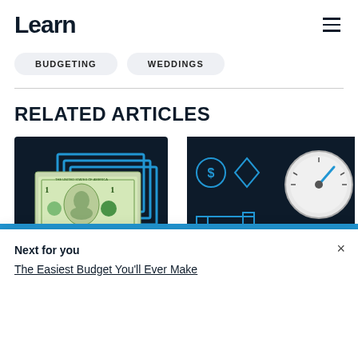Learn
BUDGETING
WEDDINGS
RELATED ARTICLES
[Figure (illustration): Dark background card with a US one dollar bill overlaid on blue layered rectangles]
[Figure (illustration): Dark background card with pressure gauge and financial/jewelry icons]
Next for you
The Easiest Budget You'll Ever Make